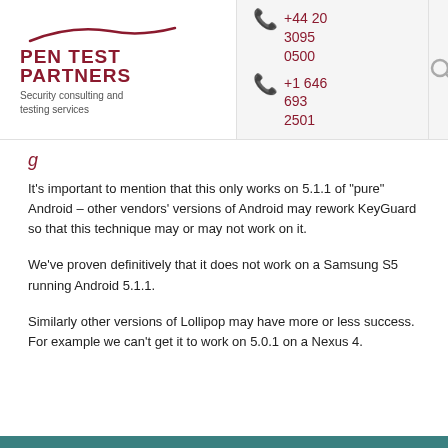[Figure (logo): Pen Test Partners logo with swoosh and tagline 'Security consulting and testing services']
+44 20 3095 0500
+1 646 693 2501
It’s important to mention that this only works on 5.1.1 of “pure” Android – other vendors’ versions of Android may rework KeyGuard so that this technique may or may not work on it.
We’ve proven definitively that it does not work on a Samsung S5 running Android 5.1.1.
Similarly other versions of Lollipop may have more or less success. For example we can’t get it to work on 5.0.1 on a Nexus 4.